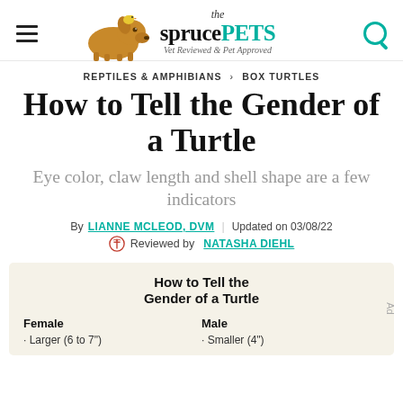the spruce PETS — Vet Reviewed & Pet Approved
REPTILES & AMPHIBIANS > BOX TURTLES
How to Tell the Gender of a Turtle
Eye color, claw length and shell shape are a few indicators
By LIANNE MCLEOD, DVM | Updated on 03/08/22
Reviewed by NATASHA DIEHL
| Female | Male |
| --- | --- |
| Larger (6 to 7") | Smaller (4") |